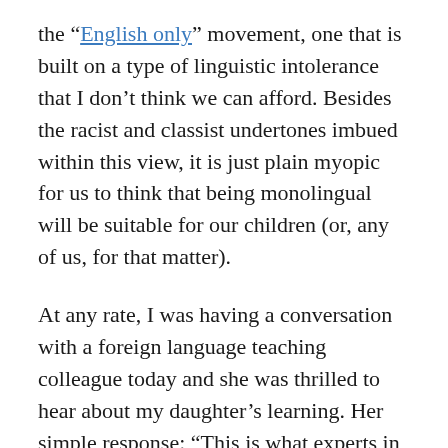the “English only” movement, one that is built on a type of linguistic intolerance that I don’t think we can afford. Besides the racist and classist undertones imbued within this view, it is just plain myopic for us to think that being monolingual will be suitable for our children (or, any of us, for that matter).
At any rate, I was having a conversation with a foreign language teaching colleague today and she was thrilled to hear about my daughter’s learning. Her simple response: “This is what experts in my field have been calling for for many, many years.” Keep the multiliterate classrooms coming, both in terms of their linguistic and technological diversities.